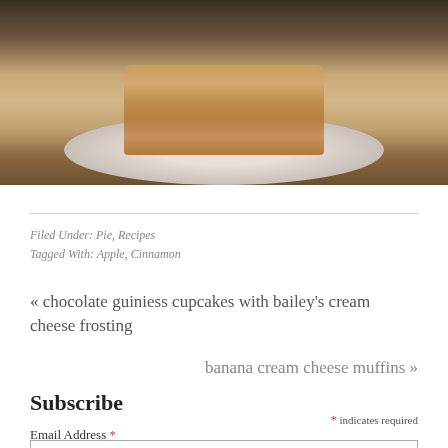[Figure (photo): A stack of layered pastry or apple pie on a white plate, photographed on a wooden surface. The food appears to be sliced apple dessert or mille-feuille style apple pie stacked in layers.]
Filed Under: Pie, Recipes
Tagged With: Apple, Cinnamon
« chocolate guiniess cupcakes with bailey's cream cheese frosting
banana cream cheese muffins »
Subscribe
* indicates required
Email Address *